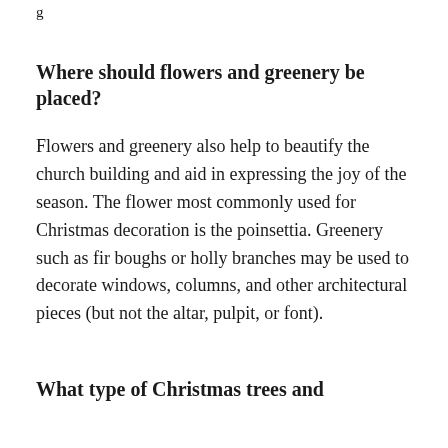g
Where should flowers and greenery be placed?
Flowers and greenery also help to beautify the church building and aid in expressing the joy of the season. The flower most commonly used for Christmas decoration is the poinsettia. Greenery such as fir boughs or holly branches may be used to decorate windows, columns, and other architectural pieces (but not the altar, pulpit, or font).
What type of Christmas trees and